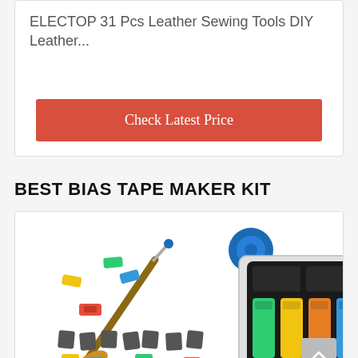ELECTOP 31 Pcs Leather Sewing Tools DIY Leather...
Check Latest Price
BEST BIAS TAPE MAKER KIT
[Figure (photo): A bias tape maker kit showing various sewing tools including bias tape makers, clips, a seam ripper with wooden handle, and other sewing accessories in a plastic organizer case.]